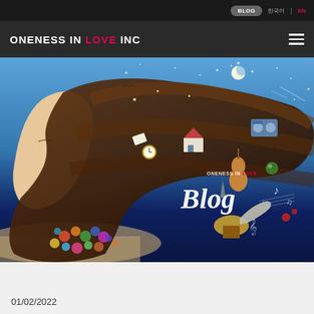BLOG | 한국어 | EN
ONENESS IN LOVE INC
[Figure (illustration): Artistic illustration of a woman's silhouette with flowing hair containing various objects (house, guitar, Eiffel Tower, gramophone, musical notes, clock, books) against a blue starry sky with colorful bubbles. Text overlay reads 'ONENESS IN LOVE Blog']
01/02/2022